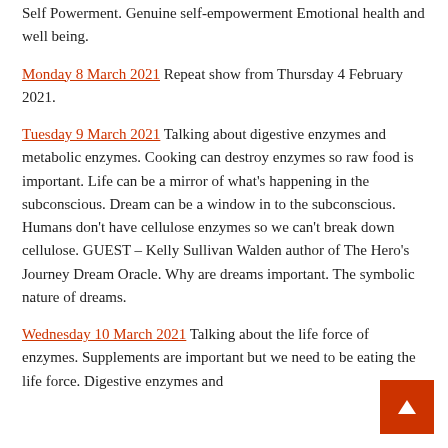Self Powerment. Genuine self-empowerment Emotional health and well being.
Monday 8 March 2021 Repeat show from Thursday 4 February 2021.
Tuesday 9 March 2021 Talking about digestive enzymes and metabolic enzymes. Cooking can destroy enzymes so raw food is important. Life can be a mirror of what's happening in the subconscious. Dream can be a window in to the subconscious. Humans don't have cellulose enzymes so we can't break down cellulose. GUEST – Kelly Sullivan Walden author of The Hero's Journey Dream Oracle. Why are dreams important. The symbolic nature of dreams.
Wednesday 10 March 2021 Talking about the life force of enzymes. Supplements are important but we need to be eating the life force. Digestive enzymes and